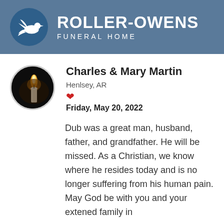Roller-Owens Funeral Home
Charles & Mary Martin
Henlsey, AR
Friday, May 20, 2022
Dub was a great man, husband, father, and grandfather. He will be missed. As a Christian, we know where he resides today and is no longer suffering from his human pain. May God be with you and your extened family in